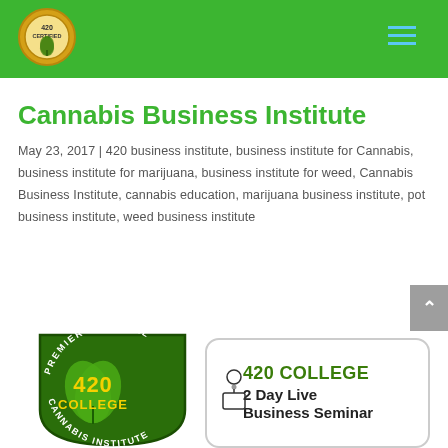[Figure (logo): 420 Certified circular logo badge on green header bar]
Cannabis Business Institute
May 23, 2017 | 420 business institute, business institute for Cannabis, business institute for marijuana, business institute for weed, Cannabis Business Institute, cannabis education, marijuana business institute, pot business institute, weed business institute
[Figure (logo): 420 College Premier National Cannabis Institute badge logo and 2 Day Live Business Seminar promotional graphic]